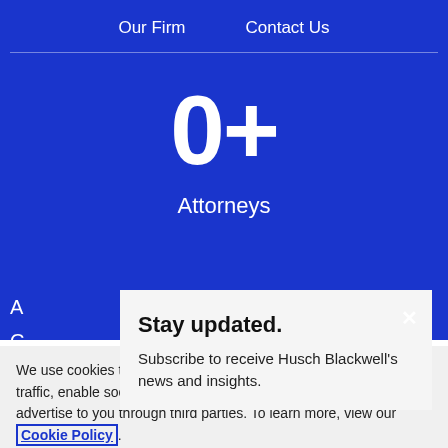Our Firm   Contact Us
0+
Attorneys
A
C
D
Stay updated.
Subscribe to receive Husch Blackwell's news and insights.
We use cookies to optimize site functionality, analyze our traffic, enable social media functionality and, in some cases, advertise to you through third parties. To learn more, view our Cookie Policy.